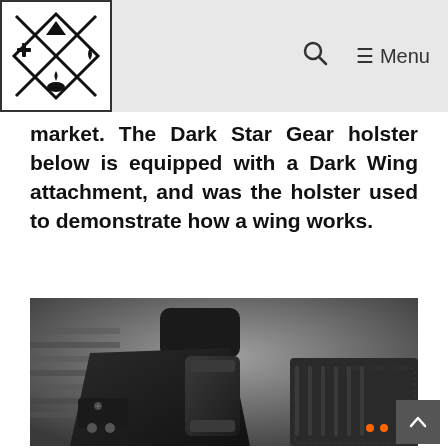Navigation bar with logo, search icon, and Menu
market. The Dark Star Gear holster below is equipped with a Dark Wing attachment, and was the holster used to demonstrate how a wing works.
[Figure (photo): Close-up photograph of a Dark Star Gear holster with Dark Wing attachment, showing a black Kydex IWB holster with clip and wing hardware resting on a textured surface alongside a handgun with orange fiber optic front sight.]